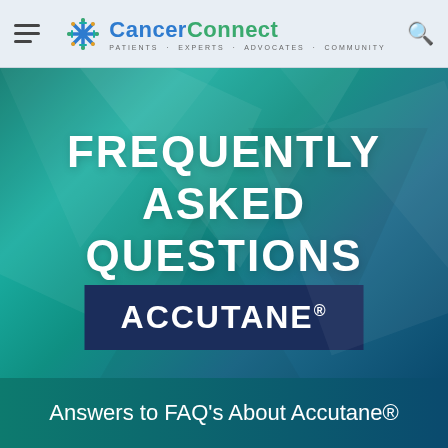CancerConnect — Patients · Experts · Advocates · Community
[Figure (infographic): Hero banner with teal-green gradient background and geometric highlight shapes. Large bold white text reads FREQUENTLY ASKED QUESTIONS. Below that, a dark navy rectangle contains the word ACCUTANE with registered trademark symbol.]
Answers to FAQ's About Accutane®